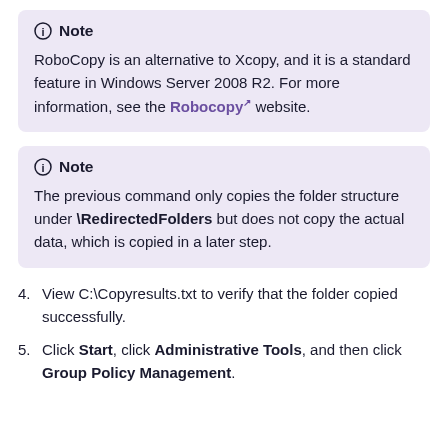Note — RoboCopy is an alternative to Xcopy, and it is a standard feature in Windows Server 2008 R2. For more information, see the Robocopy website.
Note — The previous command only copies the folder structure under \RedirectedFolders but does not copy the actual data, which is copied in a later step.
4. View C:\Copyresults.txt to verify that the folder copied successfully.
5. Click Start, click Administrative Tools, and then click Group Policy Management.